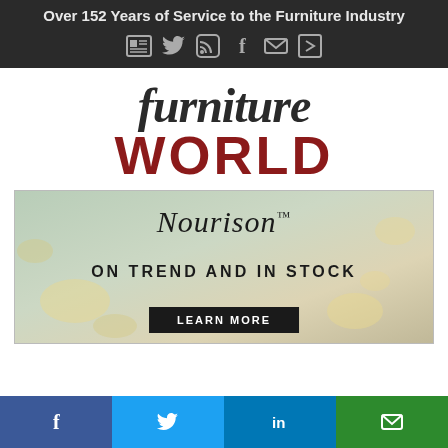Over 152 Years of Service to the Furniture Industry
[Figure (logo): Furniture World magazine logo — 'furniture' in dark italic serif above 'WORLD' in large bold red uppercase sans-serif]
[Figure (infographic): Nourison advertisement banner with muted blue-green and gold textured background. Text reads 'Nourison' in italic script, 'ON TREND AND IN STOCK' in bold uppercase, and a 'LEARN MORE' button at the bottom.]
Social share buttons: Facebook, Twitter, LinkedIn, Email